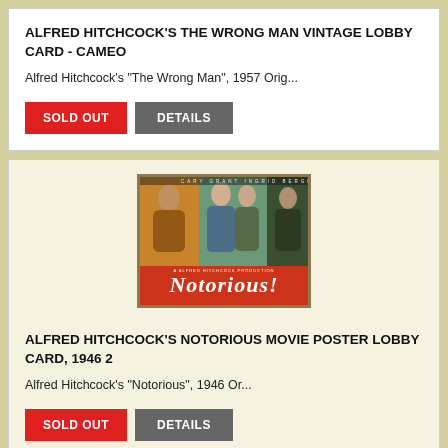ALFRED HITCHCOCK'S THE WRONG MAN VINTAGE LOBBY CARD - CAMEO
Alfred Hitchcock's "The Wrong Man", 1957 Orig...
SOLD OUT   DETAILS
[Figure (photo): Vintage movie lobby card for Alfred Hitchcock's Notorious (1946) showing two men and a woman with title banner at bottom]
ALFRED HITCHCOCK'S NOTORIOUS MOVIE POSTER LOBBY CARD, 1946 2
Alfred Hitchcock's  "Notorious", 1946 Or...
SOLD OUT   DETAILS